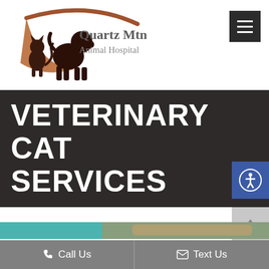[Figure (logo): Quartz Mtn. Animal Hospital logo with silhouettes of a cat and dog and decorative swoosh, with text 'Quartz Mtn. Animal Hospital']
VETERINARY CAT SERVICES
[Figure (photo): Partial photo of a cat being examined, teal/turquoise background]
Call Us   Text Us